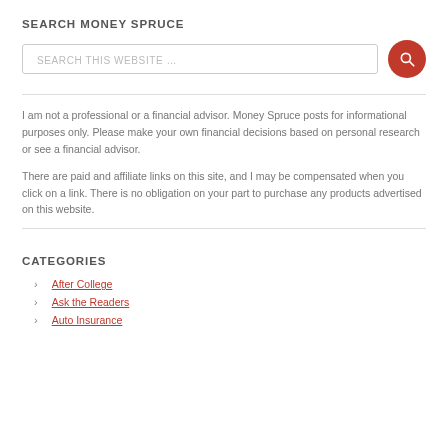SEARCH MONEY SPRUCE
[Figure (other): Search bar with text 'SEARCH THIS WEBSITE ...' and a red circular search button with magnifying glass icon]
I am not a professional or a financial advisor. Money Spruce posts for informational purposes only. Please make your own financial decisions based on personal research or see a financial advisor.
There are paid and affiliate links on this site, and I may be compensated when you click on a link. There is no obligation on your part to purchase any products advertised on this website.
CATEGORIES
After College
Ask the Readers
Auto Insurance